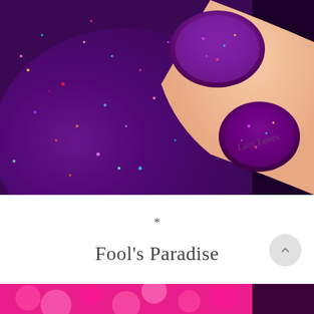[Figure (photo): Close-up photo of hand with purple/dark red glitter nail polish, with a nail polish bottle also covered in holographic glitter. Watermark text 'Lani Loves' visible on the skin.]
*
Fool's Paradise
[Figure (photo): Bottom portion of another photo showing bright pink/magenta bokeh background with what appears to be a nail polish bottle.]